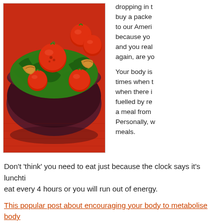[Figure (photo): A dark bowl filled with a fresh salad: cherry tomatoes, spinach leaves, grilled chicken pieces, on a red background/tablecloth.]
dropping in t... buy a packe... to our Ameri... because yo... and you real... again, are yo...
Your body is... times when t... when there i... fuelled by re... a meal from... Personally, w... meals.
Don't 'think' you need to eat just because the clock says it's lunchti... eat every 4 hours or you will run out of energy.
This popular post about encouraging your body to metabolise body... feeding your body cheap carbohydrates every few hours, explains h...